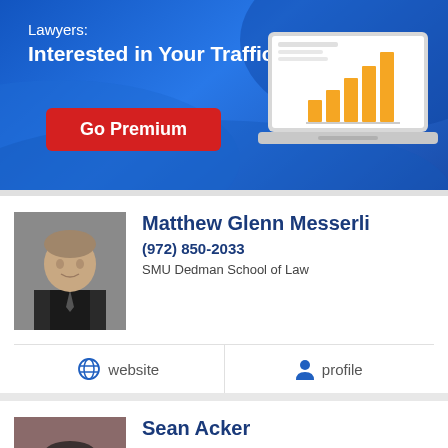[Figure (infographic): Blue gradient banner advertisement for lawyer traffic stats with 'Go Premium' red button and laptop graphic showing bar chart]
Matthew Glenn Messerli
(972) 850-2033
SMU Dedman School of Law
website
profile
Sean Acker
(817) 752-9033
Texas Wesleyan University School of Law - Texas Wesleyan...